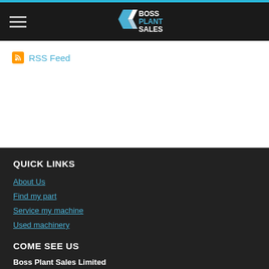Boss Plant Sales - navigation header with logo
RSS Feed
QUICK LINKS
About Us
Find my part
Service my machine
Used machinery
COME SEE US
Boss Plant Sales Limited
Unit 23, Old Airfield Industrial Estate